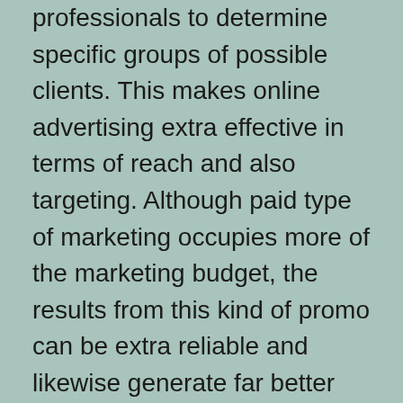professionals to determine specific groups of possible clients. This makes online advertising extra effective in terms of reach and also targeting. Although paid type of marketing occupies more of the marketing budget, the results from this kind of promo can be extra reliable and likewise generate far better earnings in regards to conversion rates.
Advertising and marketing is basically a communication that makes use of an officially backed, officially sponsored message to offer or market an item, idea or company. Sponsors